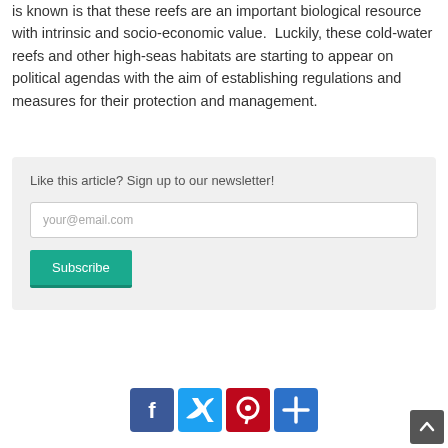is known is that these reefs are an important biological resource with intrinsic and socio-economic value. Luckily, these cold-water reefs and other high-seas habitats are starting to appear on political agendas with the aim of establishing regulations and measures for their protection and management.
Like this article? Sign up to our newsletter!
your@email.com
Subscribe
[Figure (other): Social media sharing icons: Facebook, Twitter, Pinterest, Share (plus sign)]